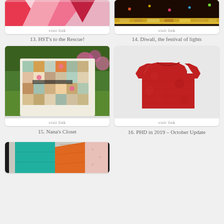[Figure (photo): Colorful geometric quilt with pink and red triangles, partially visible at top]
visit link
13. HST's to the Rescue!
[Figure (photo): Dark fabric/textile with colorful strips, partially visible at top]
visit link
14. Diwali, the festival of lights
[Figure (photo): Colorful patchwork quilt laid on grass with flowers in background]
visit link
15. Nana's Closet
[Figure (photo): Red textured short-sleeve t-shirt on light background]
visit link
16. PHD in 2019 – October Update
[Figure (photo): Colorful geometric quilt art with teal, orange, and pink shapes, partially visible at bottom]